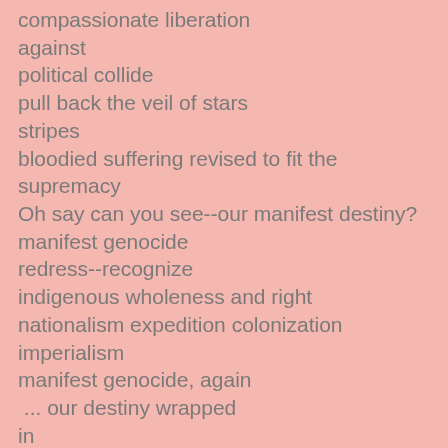compassionate liberation
against
political collide
pull back the veil of stars
stripes
bloodied suffering revised to fit the supremacy
Oh say can you see--our manifest destiny?
manifest genocide
redress--recognize
indigenous wholeness and right
nationalism expedition colonization imperialism
manifest genocide, again
 ... our destiny wrapped
in
rhyme--rhythm
by
Jackson
Jefferson
Cooper
Whitman
Hawthorne
Longfellow
D...